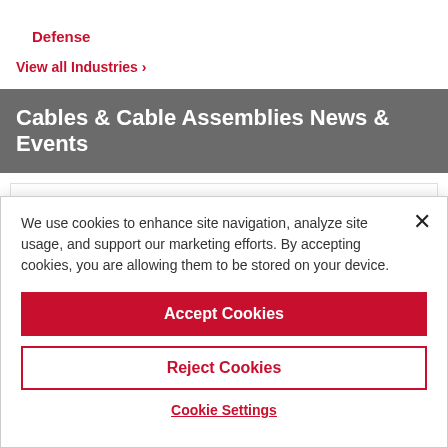Defense
View all Industries ›
Cables & Cable Assemblies News & Events
PRESS RELEASE
W. L. Gore & Associates Expands Mission Capabilities for Microwave RF
We use cookies to enhance site navigation, analyze site usage, and support our marketing efforts. By accepting cookies, you are allowing them to be stored on your device.
Accept Cookies
Reject Cookies
Cookie Settings